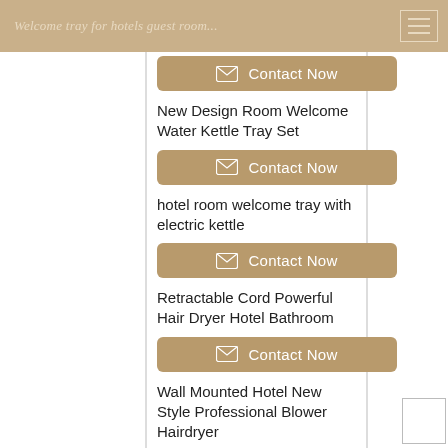Welcome tray for hotels guest room...
Contact Now
New Design Room Welcome Water Kettle Tray Set
Contact Now
hotel room welcome tray with electric kettle
Contact Now
Retractable Cord Powerful Hair Dryer Hotel Bathroom
Contact Now
Wall Mounted Hotel New Style Professional Blower Hairdryer
Contact Now